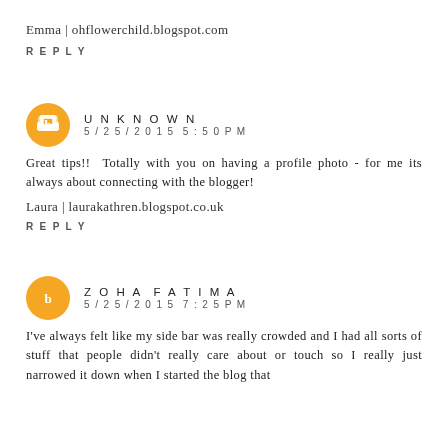Emma | ohflowerchild.blogspot.com
REPLY
UNKNOWN
5/25/2015 5:50 PM
Great tips!! Totally with you on having a profile photo - for me its always about connecting with the blogger!
Laura | laurakathren.blogspot.co.uk
REPLY
ZOHA FATIMA
5/25/2015 7:25 PM
I've always felt like my side bar was really crowded and I had all sorts of stuff that people didn't really care about or touch so I really just narrowed it down when I started the blog that